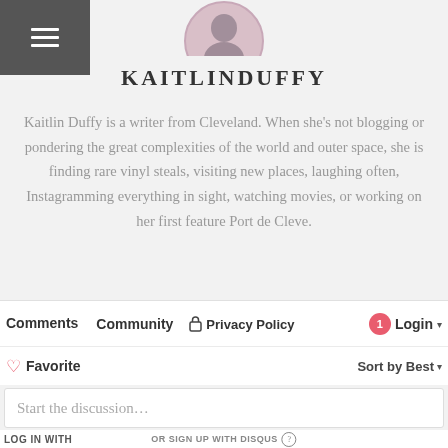[Figure (photo): Circular profile avatar photo of Kaitlin Duffy, partially visible at top center]
KAITLINDUFFY
Kaitlin Duffy is a writer from Cleveland. When she's not blogging or pondering the great complexities of the world and outer space, she is finding rare vinyl steals, visiting new places, laughing often, Instagramming everything in sight, watching movies, or working on her first feature Port de Cleve.
Comments  Community  Privacy Policy  Login  Favorite  Sort by Best  Start the discussion...  LOG IN WITH  OR SIGN UP WITH DISQUS